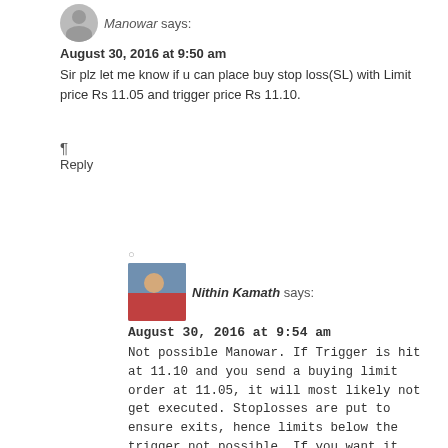Manowar says:
August 30, 2016 at 9:50 am
Sir plz let me know if u can place buy stop loss(SL) with Limit price Rs 11.05 and trigger price Rs 11.10.
¶
Reply
○
[Figure (photo): Small profile photo of Nithin Kamath]
Nithin Kamath says:
August 30, 2016 at 9:54 am
Not possible Manowar. If Trigger is hit at 11.10 and you send a buying limit order at 11.05, it will most likely not get executed. Stoplosses are put to ensure exits, hence limits below the trigger not possible. If you want it this way, you will have to set trigger and limit both at 11.05.
¶
Reply